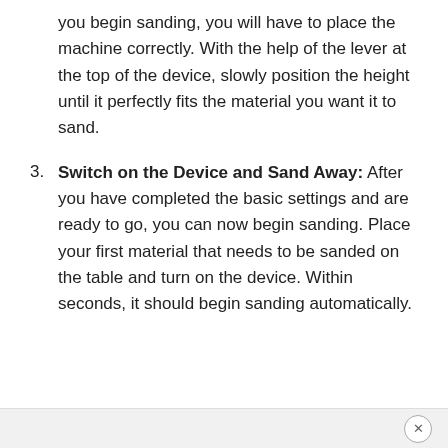you begin sanding, you will have to place the machine correctly. With the help of the lever at the top of the device, slowly position the height until it perfectly fits the material you want it to sand.
3. Switch on the Device and Sand Away: After you have completed the basic settings and are ready to go, you can now begin sanding. Place your first material that needs to be sanded on the table and turn on the device. Within seconds, it should begin sanding automatically.
×